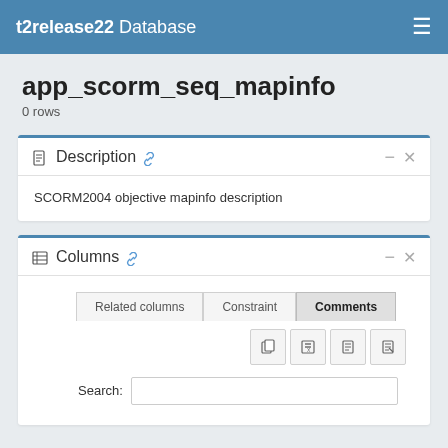t2release22 Database
app_scorm_seq_mapinfo
0 rows
Description
SCORM2004 objective mapinfo description
Columns
Related columns  Constraint  Comments
Search: